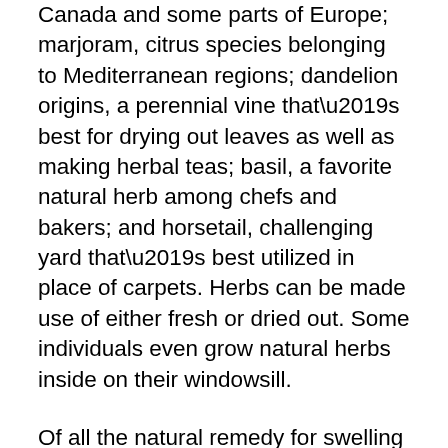Canada and some parts of Europe; marjoram, citrus species belonging to Mediterranean regions; dandelion origins, a perennial vine that’s best for drying out leaves as well as making herbal teas; basil, a favorite natural herb among chefs and bakers; and horsetail, challenging yard that’s best utilized in place of carpets. Herbs can be made use of either fresh or dried out. Some individuals even grow natural herbs inside on their windowsill.
Of all the natural remedy for swelling that you can make use of, one of the most typically used are those that contain medical homes. Although they’re not technically thought about “medicines”, these plants are widely utilized in numerous kinds of